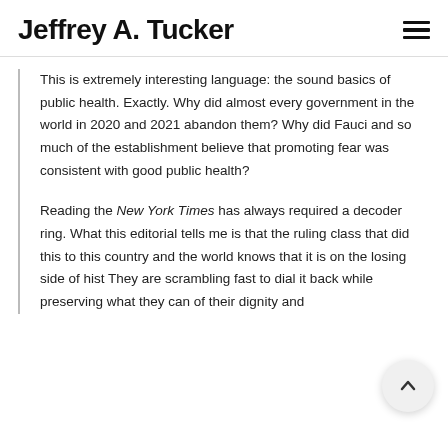Jeffrey A. Tucker
This is extremely interesting language: the sound basics of public health. Exactly. Why did almost every government in the world in 2020 and 2021 abandon them? Why did Fauci and so much of the establishment believe that promoting fear was consistent with good public health?
Reading the New York Times has always required a decoder ring. What this editorial tells me is that the ruling class that did this to this country and the world knows that it is on the losing side of hist… They are scrambling fast to dial it back while preserving what they can of their dignity and